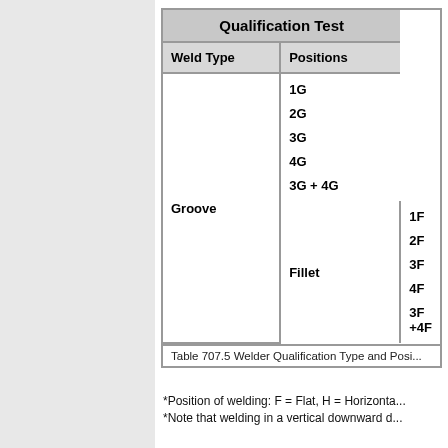| Weld Type | Positions |
| --- | --- |
| Groove | 1G |
|  | 2G |
|  | 3G |
|  | 4G |
|  | 3G + 4G |
| Fillet | 1F |
|  | 2F |
|  | 3F |
|  | 4F |
|  | 3F +4F |
Table 707.5 Welder Qualification Type and Posi...
*Position of welding: F = Flat, H = Horizonta...
*Note that welding in a vertical downward d...